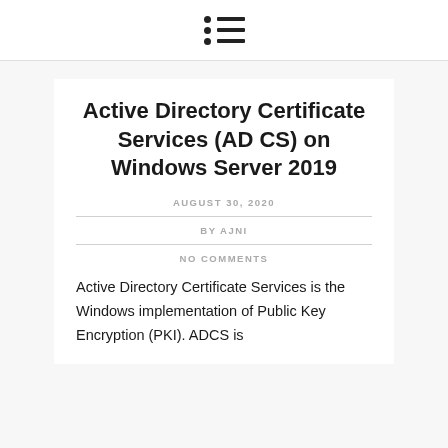Active Directory Certificate Services (AD CS) on Windows Server 2019
AUGUST 30, 2020
BY AJNI
NO COMMENTS
Active Directory Certificate Services is the Windows implementation of Public Key Encryption (PKI). ADCS is